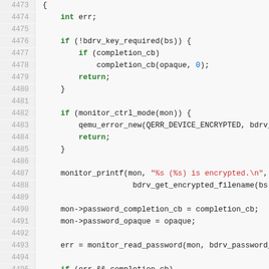[Figure (screenshot): Source code listing in C showing lines 4473-4499, a code editor view with line numbers, syntax highlighting (keywords in green bold, strings in red, numbers in blue). Code involves bdrv_key_required, monitor_ctrl_mode, monitor_printf, password_completion_cb, monitor_read_password, and typedef struct OemuErrorSink.]